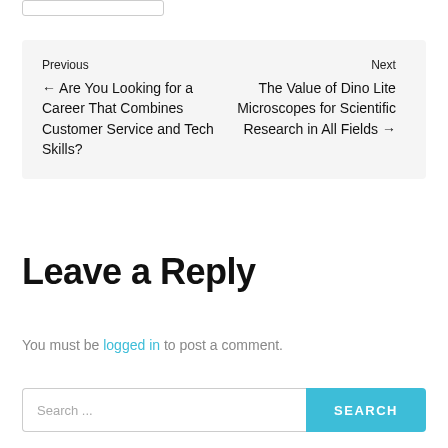Previous ← Are You Looking for a Career That Combines Customer Service and Tech Skills? | Next The Value of Dino Lite Microscopes for Scientific Research in All Fields →
Leave a Reply
You must be logged in to post a comment.
Search ...